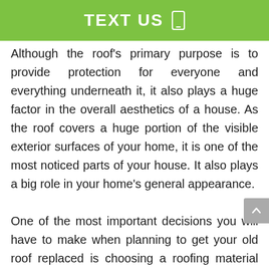TEXT US
Although the roof's primary purpose is to provide protection for everyone and everything underneath it, it also plays a huge factor in the overall aesthetics of a house. As the roof covers a huge portion of the visible exterior surfaces of your home, it is one of the most noticed parts of your house. It also plays a big role in your home's general appearance.

One of the most important decisions you will have to make when planning to get your old roof replaced is choosing a roofing material and style that would perfectly benefit your home's overall look. Its functionality, your